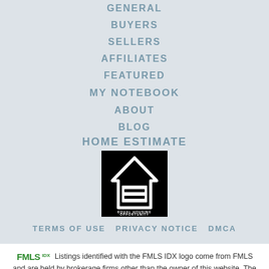GENERAL
BUYERS
SELLERS
AFFILIATES
FEATURED
MY NOTEBOOK
ABOUT
BLOG
HOME ESTIMATE
[Figure (logo): Equal Housing Opportunity logo — white house icon with equal sign on black background]
TERMS OF USE  PRIVACY NOTICE  DMCA
Listings identified with the FMLS IDX logo come from FMLS and are held by brokerage firms other than the owner of this website. The listing brokerage is identified in any listing details. Information is deemed reliable but is not guaranteed.
DMCA NOTICE